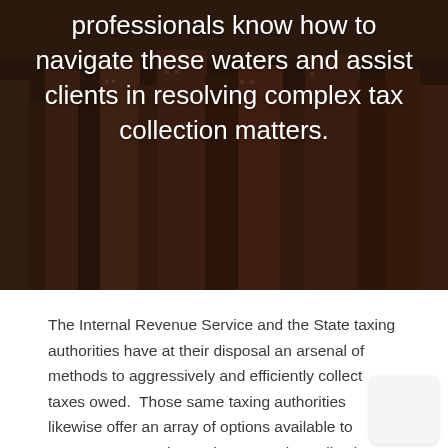[Figure (photo): Aerial/overhead view of a city with buildings, darkened with overlay. White text overlay reads: professionals know how to navigate these waters and assist clients in resolving complex tax collection matters.]
The Internal Revenue Service and the State taxing authorities have at their disposal an arsenal of methods to aggressively and efficiently collect taxes owed.  Those same taxing authorities likewise offer an array of options available to taxpayers to resolve and compromise collection issues.  Andreozzi Bluestein LLP's professionals know how to assist